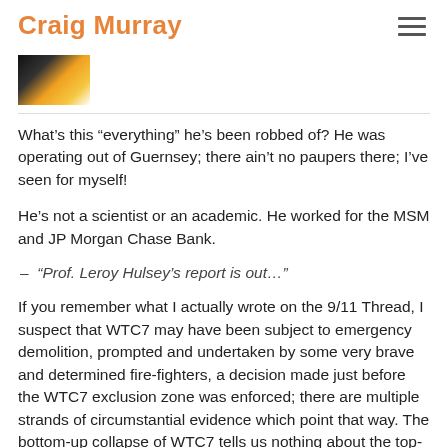Craig Murray
[Figure (photo): Small thumbnail image with dark and orange/yellow tones, appears to be a fire or explosion photograph]
What's this “everything” he’s been robbed of? He was operating out of Guernsey; there ain’t no paupers there; I’ve seen for myself!
He’s not a scientist or an academic. He worked for the MSM and JP Morgan Chase Bank.
– “Prof. Leroy Hulsey’s report is out…”
If you remember what I actually wrote on the 9/11 Thread, I suspect that WTC7 may have been subject to emergency demolition, prompted and undertaken by some very brave and determined fire-fighters, a decision made just before the WTC7 exclusion zone was enforced; there are multiple strands of circumstantial evidence which point that way. The bottom-up collapse of WTC7 tells us nothing about the top-down collapses of the Twin Towers.